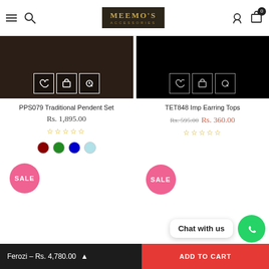MEEMO'S ACCESSORIES - navigation header
PPS079 Traditional Pendent Set
Rs. 1,895.00
TET848 Imp Earring Tops
Rs. 595.00  Rs. 360.00
SALE
SALE
Chat with us
Ferozi – Rs. 4,780.00
ADD TO CART